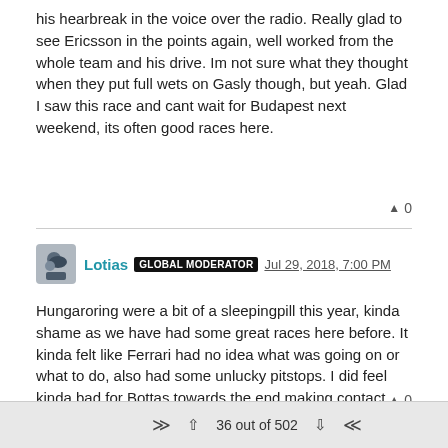his hearbreak in the voice over the radio. Really glad to see Ericsson in the points again, well worked from the whole team and his drive. Im not sure what they thought when they put full wets on Gasly though, but yeah. Glad I saw this race and cant wait for Budapest next weekend, its often good races here.
▲ 0
Lotias GLOBAL MODERATOR Jul 29, 2018, 7:00 PM
Hungaroring were a bit of a sleepingpill this year, kinda shame as we have had some great races here before. It kinda felt like Ferrari had no idea what was going on or what to do, also had some unlucky pitstops. I did feel kinda bad for Bottas towards the end making contact with Vettel and Ricciardo. Now its time for summer break and my sundays will be a lot more dull until we return in a month with Spa, which hopefully will be a good race where teams bring in new parts and so on!
▲ 0
36 out of 502